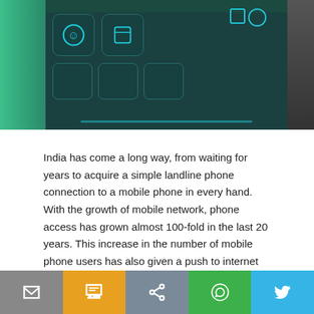[Figure (photo): Close-up photo of a smartphone screen showing app icons in teal/cyan colors against a dark background]
India has come a long way, from waiting for years to acquire a simple landline phone connection to a mobile phone in every hand. With the growth of mobile network, phone access has grown almost 100-fold in the last 20 years. This increase in the number of mobile phone users has also given a push to internet penetration, which further supports the Digital India initiative.
A digital India is a huge opportunity for the citizens and economy. It can transform lives and livelihoods of many...